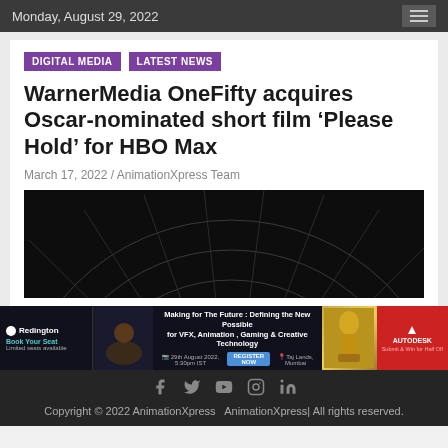Monday, August 29, 2022
DIGITAL MEDIA   LATEST NEWS
WarnerMedia OneFifty acquires Oscar-nominated short film ‘Please Hold’ for HBO Max
March 17, 2022 / AnimationXpress Team
[Figure (photo): Dark background with concentric circular arc lines suggesting a sci-fi or film aesthetic]
[Figure (infographic): Advertisement banner: Redington and Autodesk. Making for The Future: Defining the New Possible for VFX, Animation, Gaming & Creative Technology. Book Your Seat. Limited seats available.]
Copyright © 2022 AnimationXpress  AnimationXpress| All rights reserved.